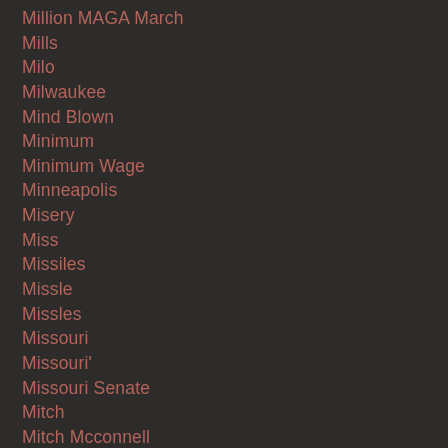Million MAGA March
Mills
Milo
Milwaukee
Mind Blown
Minimum
Minimum Wage
Minneapolis
Misery
Miss
Missiles
Missle
Missles
Missouri
Missouri'
Missouri Senate
Mitch
Mitch Mcconnell
Mitt
Mixed Martial Arts
Miz